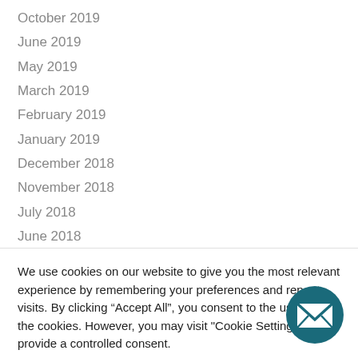October 2019
June 2019
May 2019
March 2019
February 2019
January 2019
December 2018
November 2018
July 2018
June 2018
May 2018
March 2018
We use cookies on our website to give you the most relevant experience by remembering your preferences and repeat visits. By clicking “Accept All”, you consent to the use of ALL the cookies. However, you may visit "Cookie Settings" to provide a controlled consent.
Cookie Settings | Accept All